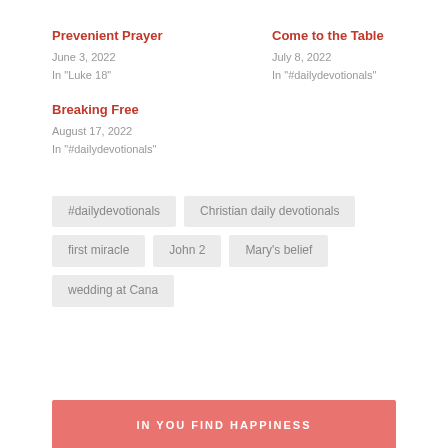Prevenient Prayer
June 3, 2022
In "Luke 18"
Come to the Table
July 8, 2022
In "#dailydevotionals"
Breaking Free
August 17, 2022
In "#dailydevotionals"
#dailydevotionals
Christian daily devotionals
first miracle
John 2
Mary's belief
wedding at Cana
IN YOU FIND HAPPINESS